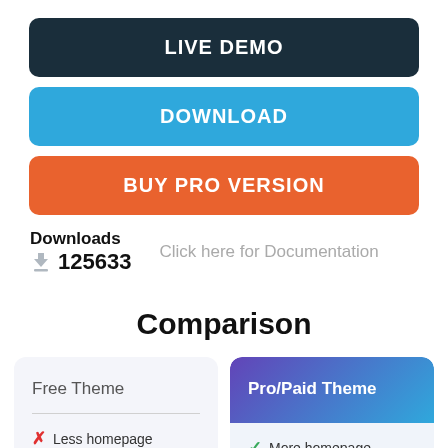LIVE DEMO
DOWNLOAD
BUY PRO VERSION
Downloads
125633   Click here for Documentation
Comparison
| Free Theme | Pro/Paid Theme |
| --- | --- |
| Less homepage | More homepage |